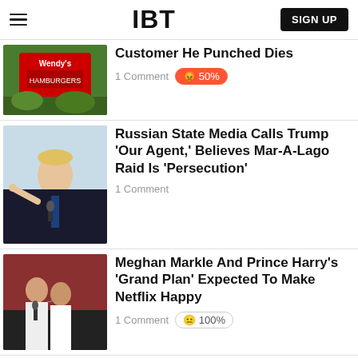IBT
Customer He Punched Dies
1 Comment  😡 50%
Russian State Media Calls Trump 'Our Agent,' Believes Mar-A-Lago Raid Is 'Persecution'
1 Comment
Meghan Markle And Prince Harry's 'Grand Plan' Expected To Make Netflix Happy
1 Comment  😐 100%
Taiwan's Missiles Can